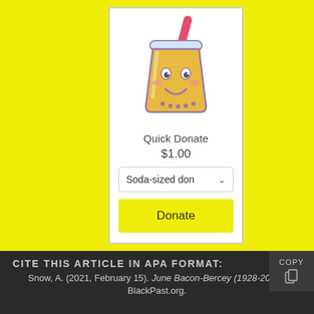[Figure (illustration): Kawaii cute cartoon bubble tea / soda cup with a straw, smiley face, and decorative details in yellow, purple, and red colors]
Quick Donate
$1.00
Soda-sized don
Donate
CITE THIS ARTICLE IN APA FORMAT:
Snow, A. (2021, February 15). June Bacon-Bercey (1928-2019). BlackPast.org.